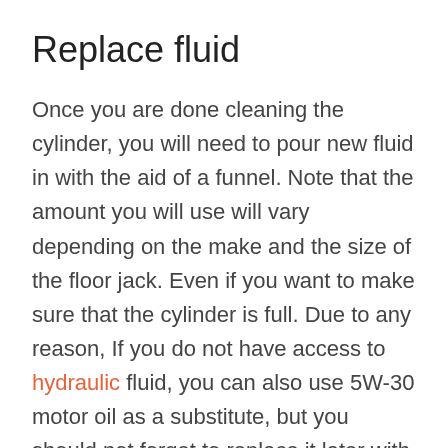Replace fluid
Once you are done cleaning the cylinder, you will need to pour new fluid in with the aid of a funnel. Note that the amount you will use will vary depending on the make and the size of the floor jack. Even if you want to make sure that the cylinder is full. Due to any reason, If you do not have access to hydraulic fluid, you can also use 5W-30 motor oil as a substitute, but you should not forget to replace it later with the correct substance.